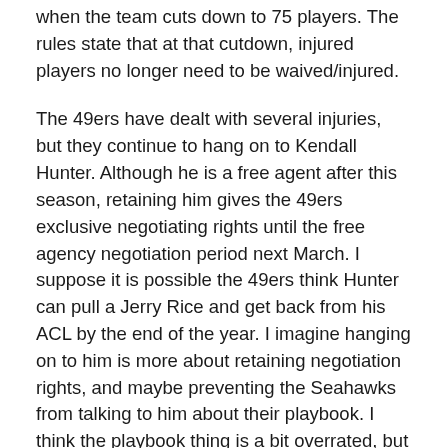when the team cuts down to 75 players. The rules state that at that cutdown, injured players no longer need to be waived/injured.
The 49ers have dealt with several injuries, but they continue to hang on to Kendall Hunter. Although he is a free agent after this season, retaining him gives the 49ers exclusive negotiating rights until the free agency negotiation period next March. I suppose it is possible the 49ers think Hunter can pull a Jerry Rice and get back from his ACL by the end of the year. I imagine hanging on to him is more about retaining negotiation rights, and maybe preventing the Seahawks from talking to him about their playbook. I think the playbook thing is a bit overrated, but given that Hunter has been with the 49ers for three seasons and now four offseasons, he knows a thing or two about what the